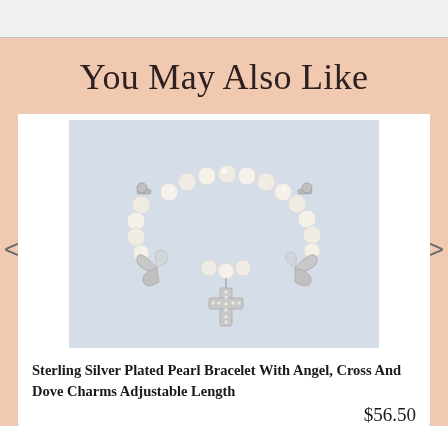You May Also Like
[Figure (photo): Pearl bracelet with angel, cross and dove charms on a light blue-grey background. The bracelet features round white pearls and three silver charms: butterfly/angel wings on the left, a crystal cross pendant in the center bottom, and a small angel on the right.]
Sterling Silver Plated Pearl Bracelet With Angel, Cross And Dove Charms Adjustable Length
$56.50